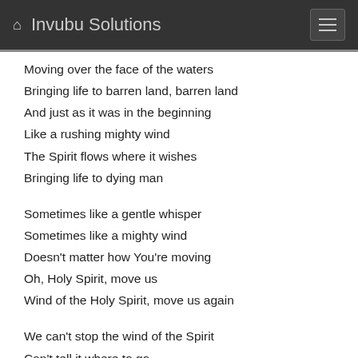Invubu Solutions
Moving over the face of the waters
Bringing life to barren land, barren land
And just as it was in the beginning
Like a rushing mighty wind
The Spirit flows where it wishes
Bringing life to dying man
Sometimes like a gentle whisper
Sometimes like a mighty wind
Doesn't matter how You're moving
Oh, Holy Spirit, move us
Wind of the Holy Spirit, move us again
We can't stop the wind of the Spirit
Can't tell it where to go
It descends wherever believers
Make their hearts welcome home
Welcome home